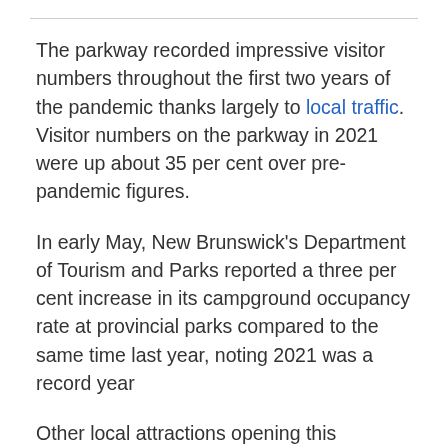The parkway recorded impressive visitor numbers throughout the first two years of the pandemic thanks largely to local traffic. Visitor numbers on the parkway in 2021 were up about 35 per cent over pre-pandemic figures.
In early May, New Brunswick's Department of Tourism and Parks reported a three per cent increase in its campground occupancy rate at provincial parks compared to the same time last year, noting 2021 was a record year
Other local attractions opening this weekend include the Hopewell Rocks in Hopewell Cape, N.B., Kingsbrae Garden in St. Andrews, N.B., and Ministers Island near St. Andrews, N.B.,